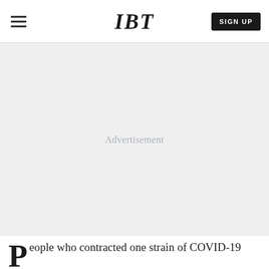IBT
[Figure (other): Advertisement placeholder block with light gray background and centered 'Advertisement' text]
People who contracted one strain of COVID-19